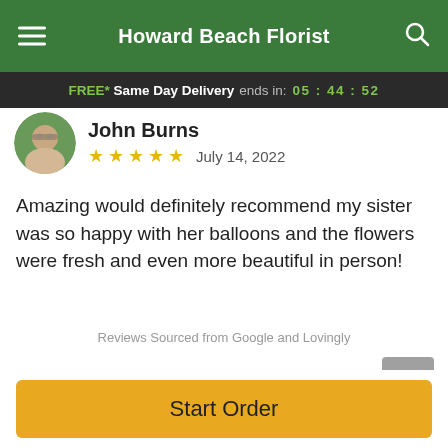Howard Beach Florist
FREE* Same Day Delivery ends in: 05:44:52
John Burns
★★★★★ July 14, 2022
Amazing would definitely recommend my sister was so happy with her balloons and the flowers were fresh and even more beautiful in person!
Reviews Sourced from Google and Lovingly
You May Also Like
Start Order